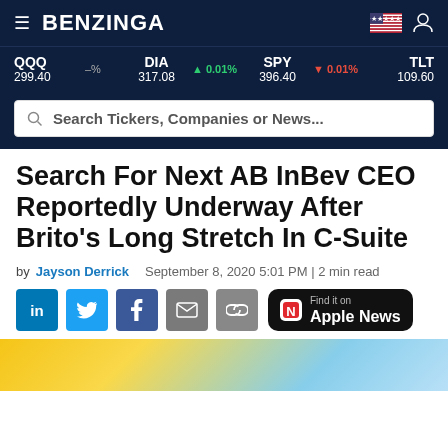BENZINGA
QQQ 299.40 –% DIA 317.08 ▲0.01% SPY 396.40 ▼0.01% TLT 109.60
Search Tickers, Companies or News...
Search For Next AB InBev CEO Reportedly Underway After Brito's Long Stretch In C-Suite
by Jayson Derrick    September 8, 2020 5:01 PM | 2 min read
[Figure (screenshot): Social share buttons: LinkedIn, Twitter, Facebook, Email, Link, and Apple News button]
[Figure (photo): Bottom partial image with yellow and blue sky tones]